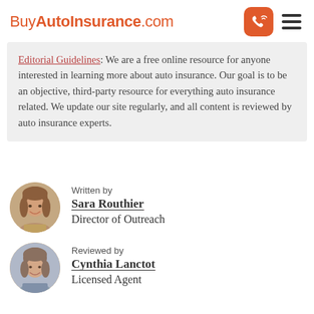BuyAutoInsurance.com
Editorial Guidelines: We are a free online resource for anyone interested in learning more about auto insurance. Our goal is to be an objective, third-party resource for everything auto insurance related. We update our site regularly, and all content is reviewed by auto insurance experts.
Written by
Sara Routhier
Director of Outreach
Reviewed by
Cynthia Lanctot
Licensed Agent